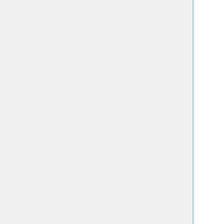expanded view of the notifications, which will result in the notification area sliding in even further from the bottom of the screen. In the expanded view, actionable notification banners (similar to those in the Android > 4.1 notification pulldown) are shown. Previews of the notification are also visible in this view. Just like Android > 4.1, notification banners can be dismissed by swiping the notification to the